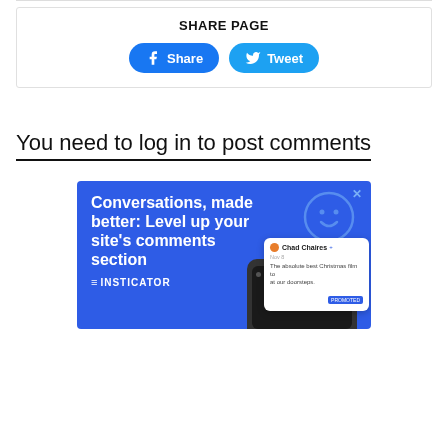SHARE PAGE
[Figure (infographic): Share buttons: Facebook Share and Twitter Tweet buttons in blue rounded rectangles]
You need to log in to post comments
[Figure (infographic): Insticator advertisement: blue background with text 'Conversations, made better: Level up your site's comments section' with Insticator logo, smiley face graphic, and phone mockup showing comment card from Chad Chaires]